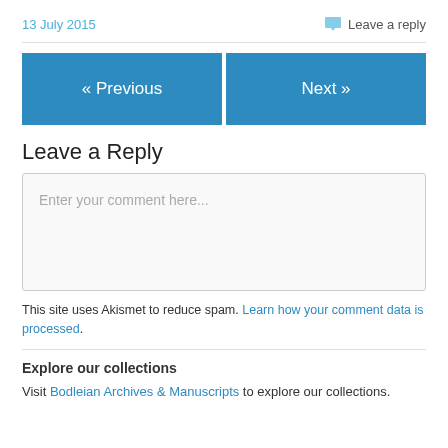13 July 2015
Leave a reply
« Previous
Next »
Leave a Reply
Enter your comment here...
This site uses Akismet to reduce spam. Learn how your comment data is processed.
Explore our collections
Visit Bodleian Archives & Manuscripts to explore our collections.